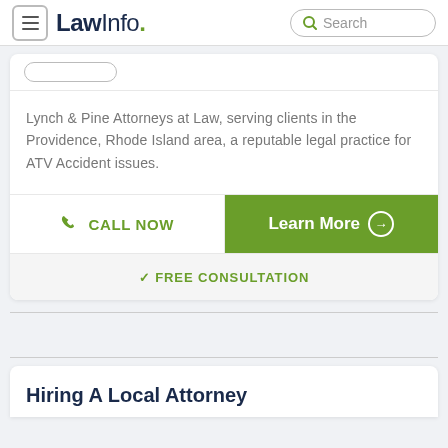LawInfo. Search
Lynch & Pine Attorneys at Law, serving clients in the Providence, Rhode Island area, a reputable legal practice for ATV Accident issues.
CALL NOW
Learn More
✓ FREE CONSULTATION
Hiring A Local Attorney